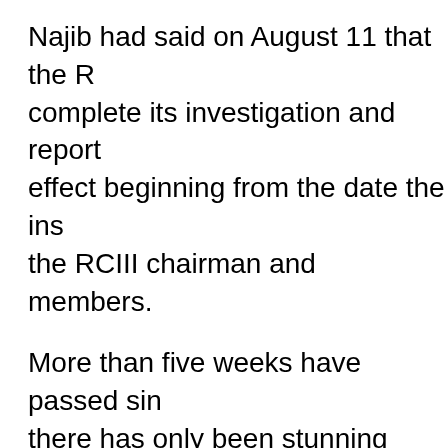Najib had said on August 11 that the R... complete its investigation and report... effect beginning from the date the ins... the RCIII chairman and members.
More than five weeks have passed sin... there has only been stunning silence a... signs that the RCIII chairman and mem... enable the RCIII to start its six-month... in Sabah and Malaysia.